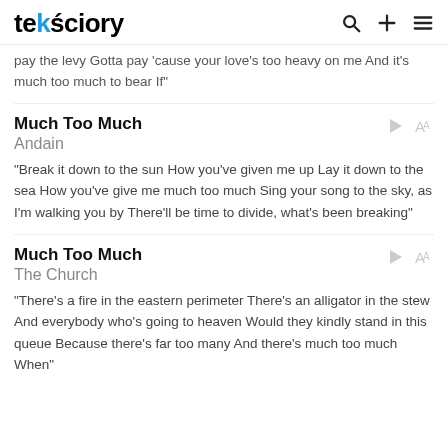teksciory
pay the levy Gotta pay 'cause your love's too heavy on me And it's much too much to bear If"
Much Too Much
Andain
"Break it down to the sun How you've given me up Lay it down to the sea How you've give me much too much Sing your song to the sky, as I'm walking you by There'll be time to divide, what's been breaking"
Much Too Much
The Church
"There's a fire in the eastern perimeter There's an alligator in the stew And everybody who's going to heaven Would they kindly stand in this queue Because there's far too many And there's much too much When"